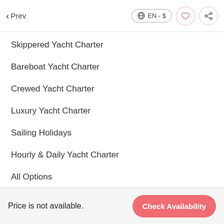Prev | EN - $ | ♡ | share
Skippered Yacht Charter
Bareboat Yacht Charter
Crewed Yacht Charter
Luxury Yacht Charter
Sailing Holidays
Hourly & Daily Yacht Charter
All Options
[Figure (logo): ∞ knot logo with text 'Boat owner admin panel' inside a rounded rectangle button]
Price is not available.  Check Availability